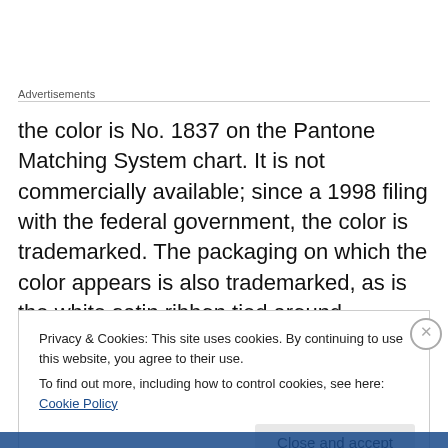Advertisements
the color is No. 1837 on the Pantone Matching System chart. It is not commercially available; since a 1998 filing with the federal government, the color is trademarked. The packaging on which the color appears is also trademarked, as is the white satin ribbon tied around.
Privacy & Cookies: This site uses cookies. By continuing to use this website, you agree to their use.
To find out more, including how to control cookies, see here: Cookie Policy
Close and accept